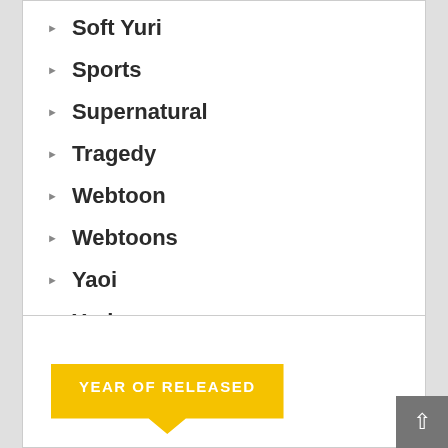Soft Yuri
Sports
Supernatural
Tragedy
Webtoon
Webtoons
Yaoi
Yuri
YEAR OF RELEASED
Other...
Go